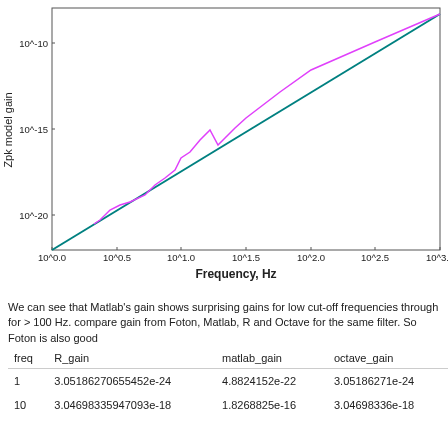[Figure (continuous-plot): Log-log plot showing Zpk model gain vs Frequency in Hz. Two lines: a teal/dark-cyan line rising steadily from lower-left (around 10^-23 at 10^0.0 Hz) to upper-right (around 10^-8 at 10^3.0 Hz), and a magenta/pink line that starts higher than teal around 10^0.5, rises with bumps near 10^1.0 and 10^1.5, then merges with teal line above 10^1.5 Hz. Y-axis labels: 10^-10, 10^-15, 10^-20. X-axis labels: 10^0.0, 10^0.5, 10^1.0, 10^1.5, 10^2.0, 10^2.5, 10^3.0.]
We can see that Matlab's gain shows surprising gains for low cut-off frequencies through for > 100 Hz. compare gain from Foton, Matlab, R and Octave for the same filter. So Foton is also good
| freq | R_gain | matlab_gain | octave_gain |
| --- | --- | --- | --- |
| 1 | 3.05186270655452e-24 | 4.8824152e-22 | 3.05186271e-24 |
| 10 | 3.04698335947093e-18 | 1.8268825e-16 | 3.04698336e-18 |